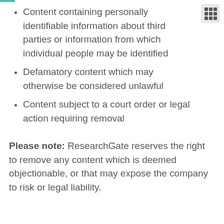Content containing personally identifiable information about third parties or information from which individual people may be identified
Defamatory content which may otherwise be considered unlawful
Content subject to a court order or legal action requiring removal
Please note: ResearchGate reserves the right to remove any content which is deemed objectionable, or that may expose the company to risk or legal liability.